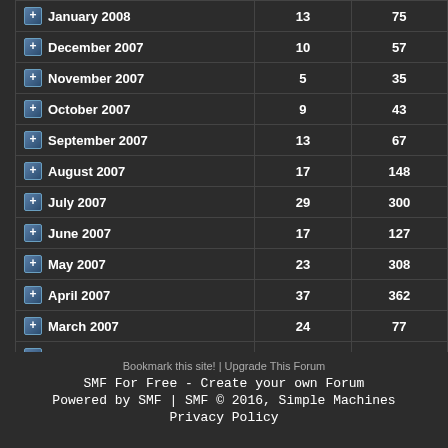| Month | Topics | Posts |
| --- | --- | --- |
| January 2008 | 13 | 75 |
| December 2007 | 10 | 57 |
| November 2007 | 5 | 35 |
| October 2007 | 9 | 43 |
| September 2007 | 13 | 67 |
| August 2007 | 17 | 148 |
| July 2007 | 29 | 300 |
| June 2007 | 17 | 127 |
| May 2007 | 23 | 308 |
| April 2007 | 37 | 362 |
| March 2007 | 24 | 77 |
| February 2007 | 0 | 0 |
| January 2007 | 2 | 2 |
| December 2006 | 1 | 1 |
Bookmark this site! | Upgrade This Forum
SMF For Free - Create your own Forum
Powered by SMF | SMF © 2016, Simple Machines
Privacy Policy